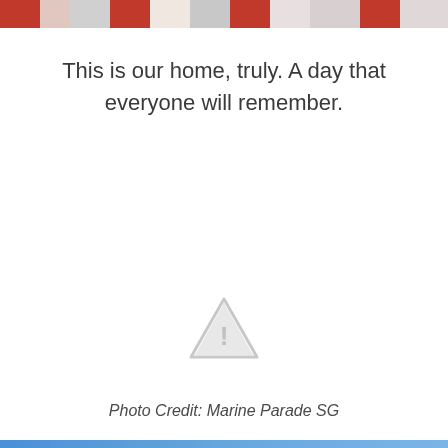[Figure (photo): Group photo of people at an event, partially visible at the top of the page, with red and white colors visible.]
This is our home, truly. A day that everyone will remember.
[Figure (other): Warning/placeholder triangle icon with exclamation mark, light gray color, indicating a missing or broken image.]
Photo Credit: Marine Parade SG